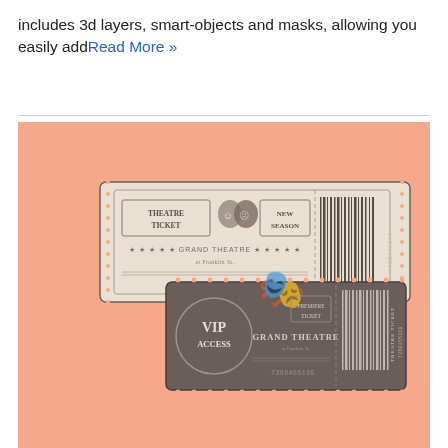includes 3d layers, smart-objects and masks, allowing you easily add Read More »
[Figure (illustration): Theatre ticket mockup on a salmon/peach background showing two vintage-style tickets: one beige 'THEATRE TICKET / NEW SEASON / GRAND THEATRE / 7368455179' with theatre masks logo and barcode stub, and one dark grey 'VIP ACCESS / GRAND THEATRE / PREMIERE TICKET / 7368455195' with barcode stub, both displayed at an angle.]